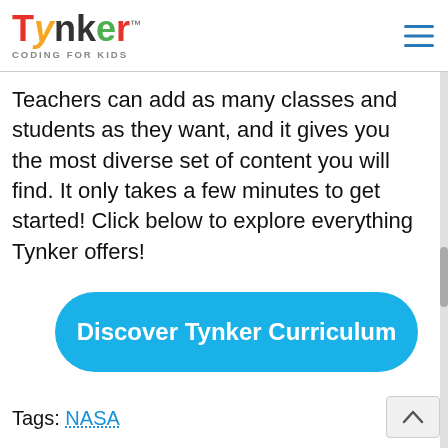Tynker™ CODING FOR KIDS
Teachers can add as many classes and students as they want, and it gives you the most diverse set of content you will find. It only takes a few minutes to get started! Click below to explore everything Tynker offers!
[Figure (other): Blue rounded-rectangle button with white bold text: Discover Tynker Curriculum]
Tags: NASA